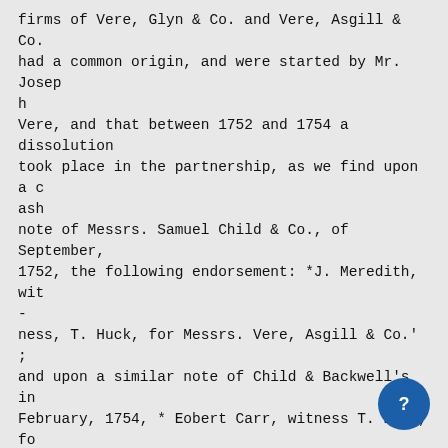firms of Vere, Glyn & Co. and Vere, Asgill & Co. had a common origin, and were started by Mr. Joseph Vere, and that between 1752 and 1754 a dissolution took place in the partnership, as we find upon a cash note of Messrs. Samuel Child & Co., of September, 1752, the following endorsement: *J. Meredith, wit-ness, T. Huck, for Messrs. Vere, Asgill & Co.' ; and upon a similar note of Child & Backwell's in February, 1754, * Eobert Carr, witness T. Huck, for Messrs. Vere, Glyn & Co.'"
The latter firm moved to Birchin Lane, whereas Asgill & Co. remained in Lombard Street. In 1754, Henry Milton witnessed signatures for the firm, and he was subsequently admitted into the partnership. In 1770, their house in Birchin Lane was numbered 18, and the firm consisted of Sir Kichard Glyn, knight and baronet, M.P. for the City of London, Alderman of Dowgate Ward, and a colonel in the